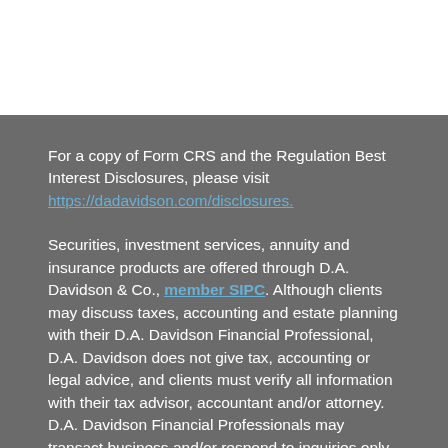For a copy of Form CRS and the Regulation Best Interest Disclosures, please visit https://dadavidson.com/disclosures.
Securities, investment services, annuity and insurance products are offered through D.A. Davidson & Co., member SIPC. Although clients may discuss taxes, accounting and estate planning with their D.A. Davidson Financial Professional, D.A. Davidson does not give tax, accounting or legal advice, and clients must verify all information with their tax advisor, accountant and/or attorney. D.A. Davidson Financial Professionals may transact business and/or respond to inquiries only in state(s) in which they are properly registered and/or licensed and not all of the securities, products and services mentioned are available in every state or jurisdiction. The